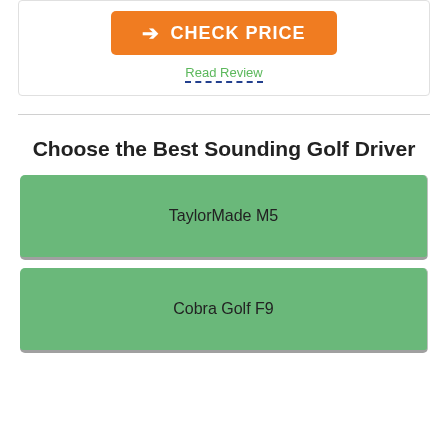[Figure (other): Orange CHECK PRICE button with arrow]
Read Review
Choose the Best Sounding Golf Driver
TaylorMade M5
Cobra Golf F9